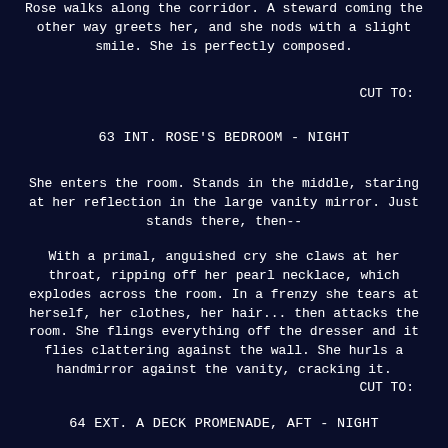Rose walks along the corridor. A steward coming the other way greets her, and she nods with a slight smile. She is perfectly composed.
CUT TO:
63 INT. ROSE'S BEDROOM - NIGHT
She enters the room. Stands in the middle, staring at her reflection in the large vanity mirror. Just stands there, then--
With a primal, anguished cry she claws at her throat, ripping off her pearl necklace, which explodes across the room. In a frenzy she tears at herself, her clothes, her hair... then attacks the room. She flings everything off the dresser and it flies clattering against the wall. She hurls a handmirror against the vanity, cracking it.
CUT TO:
64 EXT. A DECK PROMENADE, AFT - NIGHT